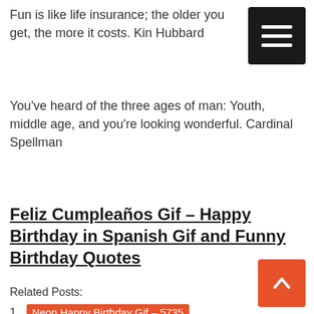Fun is like life insurance; the older you get, the more it costs. Kin Hubbard
You've heard of the three ages of man: Youth, middle age, and you're looking wonderful. Cardinal Spellman
Feliz Cumpleaños Gif – Happy Birthday in Spanish Gif and Funny Birthday Quotes
Related Posts:
1. Neon Happy Birthday Gif – 5735
View more Gifs at GreetingsGif.com and HappyNewYearGifs.com